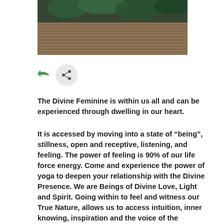[Figure (photo): Wooden deck/floor surface with dark green foliage at top, photographed from above]
[Figure (infographic): Reply arrow icon (green) and share icon (dark on light grey circle)]
The Divine Feminine is within us all and can be experienced through dwelling in our heart.
It is accessed by moving into a state of “being”, stillness, open and receptive, listening, and feeling. The power of feeling is 90% of our life force energy. Come and experience the power of yoga to deepen your relationship with the Divine Presence. We are Beings of Divine Love, Light and Spirit. Going within to feel and witness our True Nature, allows us to access intuition, inner knowing, inspiration and the voice of the Presence/Source.
In this retreat you will be learning a new style of yoga called, “Dru Yoga” which means pole star or north star that is an anchor for the heavenly. Our